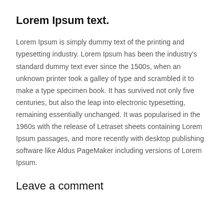Lorem Ipsum text.
Lorem Ipsum is simply dummy text of the printing and typesetting industry. Lorem Ipsum has been the industry's standard dummy text ever since the 1500s, when an unknown printer took a galley of type and scrambled it to make a type specimen book. It has survived not only five centuries, but also the leap into electronic typesetting, remaining essentially unchanged. It was popularised in the 1960s with the release of Letraset sheets containing Lorem Ipsum passages, and more recently with desktop publishing software like Aldus PageMaker including versions of Lorem Ipsum.
Leave a comment